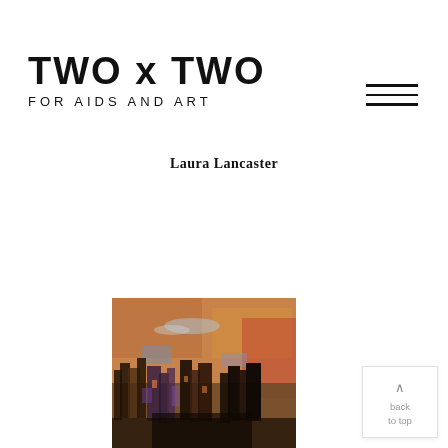TWO x TWO FOR AIDS AND ART
Laura Lancaster
[Figure (illustration): Abstract expressionist painting with warm orange/amber sky tones, loose brushwork depicting figures and vegetation in a landscape]
^ back to top